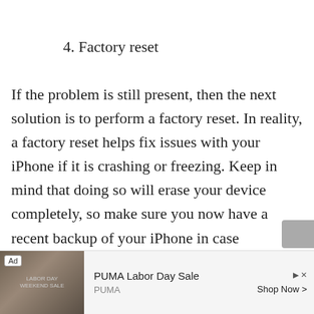4. Factory reset
If the problem is still present, then the next solution is to perform a factory reset. In reality, a factory reset helps fix issues with your iPhone if it is crashing or freezing. Keep in mind that doing so will erase your device completely, so make sure you now have a recent backup of your iPhone in case something goes wrong.
[Figure (screenshot): Advertisement banner for PUMA Labor Day Sale with an image of outdoor scene and PUMA branding, showing 'Ad' label, play and close controls, and 'Shop Now >' button]